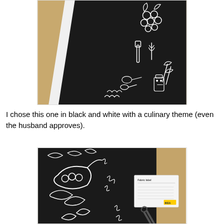[Figure (photo): Close-up photo of black fabric with white culinary-themed illustrations (vegetables, kitchen tools) laid on a light wood surface with a white edge visible]
I chose this one in black and white with a culinary theme (even the husband approves).
[Figure (photo): Close-up photo of black fabric with white illustrations of pea pods and leaves, with a white fabric label card and scissors visible on a wooden surface]